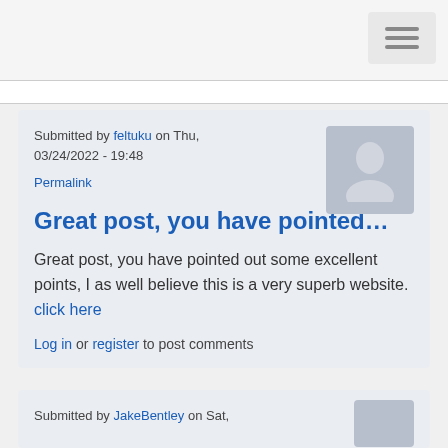Navigation hamburger menu button
Submitted by feltuku on Thu, 03/24/2022 - 19:48
Permalink
Great post, you have pointed…
Great post, you have pointed out some excellent points, I as well believe this is a very superb website. click here
Log in or register to post comments
Submitted by JakeBentley on Sat,